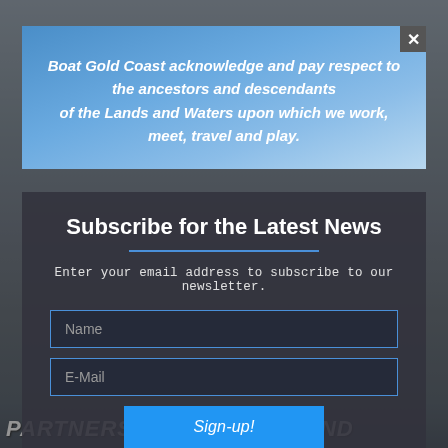at Sanctuary Cove Boat Show The 2022 Sanctuary Cove
[Figure (screenshot): Background webpage with greyed overlay showing marina/boat scene]
Boat Gold Coast acknowledge and pay respect to the ancestors and descendants of the Lands and Waters upon which we work, meet, travel and play.
Subscribe for the Latest News
Enter your email address to subscribe to our newsletter.
Name
E-Mail
Sign-up!
Your Information will never be shared with any third party
WordPress PopUp Plugin
PARTNERSHIP GOES BEYOND